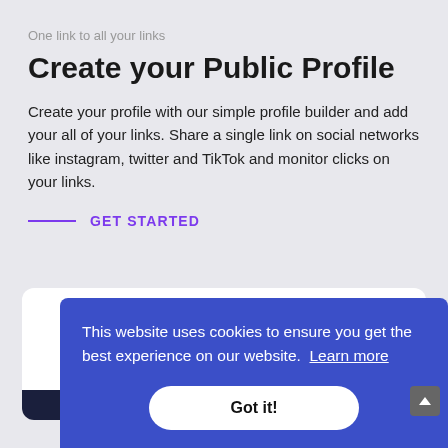One link to all your links
Create your Public Profile
Create your profile with our simple profile builder and add your all of your links. Share a single link on social networks like instagram, twitter and TikTok and monitor clicks on your links.
GET STARTED
[Figure (screenshot): White card area with a pink/magenta button bar inside, and a blue cookie consent banner overlay reading 'This website uses cookies to ensure you get the best experience on our website. Learn more' with a 'Got it!' button. At the bottom, a row of colored strips: dark navy, cyan, purple, pink, teal.]